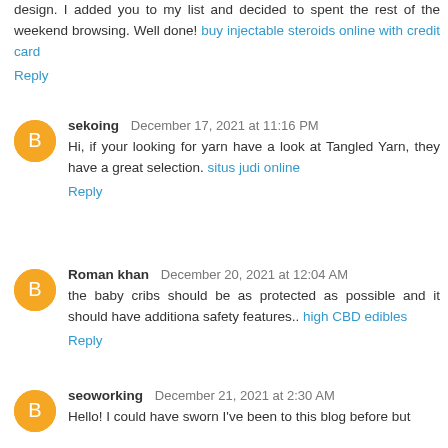design. I added you to my list and decided to spent the rest of the weekend browsing. Well done! buy injectable steroids online with credit card
Reply
sekoing  December 17, 2021 at 11:16 PM
Hi, if your looking for yarn have a look at Tangled Yarn, they have a great selection. situs judi online
Reply
Roman khan  December 20, 2021 at 12:04 AM
the baby cribs should be as protected as possible and it should have additiona safety features.. high CBD edibles
Reply
seoworking  December 21, 2021 at 2:30 AM
Hello! I could have sworn I've been to this blog before but